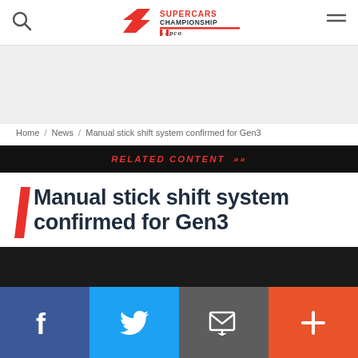Supercars Championship Repco — site header with search and menu icons
Home / News / Manual stick shift system confirmed for Gen3
RELATED CONTENT »
Manual stick shift system confirmed for Gen3
GEN3 REPCO SUPERCARS CHAMPIONSHIP
06/02/2022
[Figure (screenshot): Dark image area below article header]
[Figure (infographic): Social share bar with Facebook, Twitter, Email, and plus buttons]